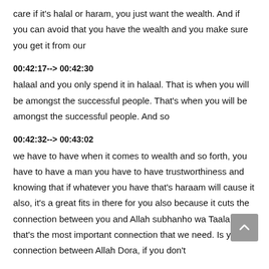care if it's halal or haram, you just want the wealth. And if you can avoid that you have the wealth and you make sure you get it from our
00:42:17--> 00:42:30
halaal and you only spend it in halaal. That is when you will be amongst the successful people. That's when you will be amongst the successful people. And so
00:42:32--> 00:43:02
we have to have when it comes to wealth and so forth, you have to have a man you have to have trustworthiness and knowing that if whatever you have that's haraam will cause it also, it's a great fits in there for you also because it cuts the connection between you and Allah subhanho wa Taala and that's the most important connection that we need. Is your connection between Allah Dora, if you don't